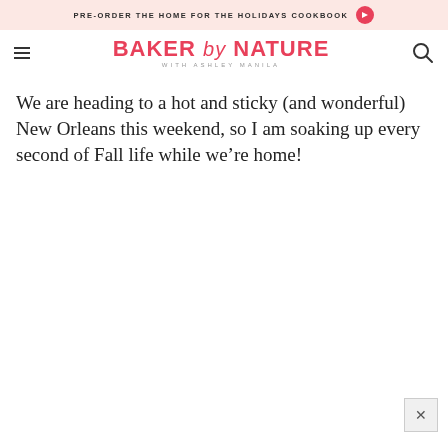PRE-ORDER THE HOME FOR THE HOLIDAYS COOKBOOK
BAKER by NATURE WITH ASHLEY MANILA
We are heading to a hot and sticky (and wonderful) New Orleans this weekend, so I am soaking up every second of Fall life while we’re home!